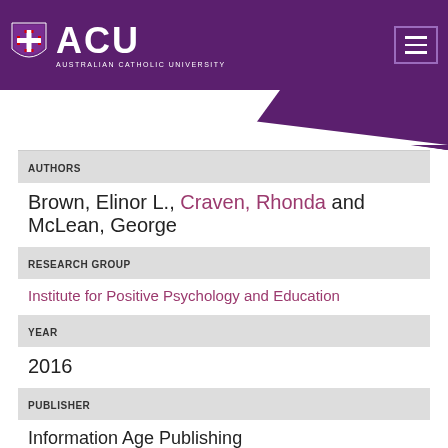[Figure (logo): ACU Australian Catholic University logo with shield emblem on purple header background]
AUTHORS
Brown, Elinor L., Craven, Rhonda and McLean, George
RESEARCH GROUP
Institute for Positive Psychology and Education
YEAR
2016
PUBLISHER
Information Age Publishing
PLACE OF PUBLICATION